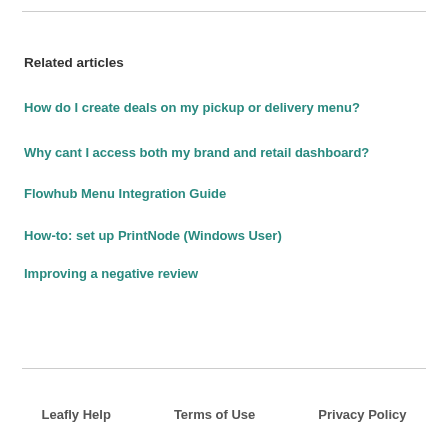Related articles
How do I create deals on my pickup or delivery menu?
Why cant I access both my brand and retail dashboard?
Flowhub Menu Integration Guide
How-to: set up PrintNode (Windows User)
Improving a negative review
Leafly Help   Terms of Use   Privacy Policy